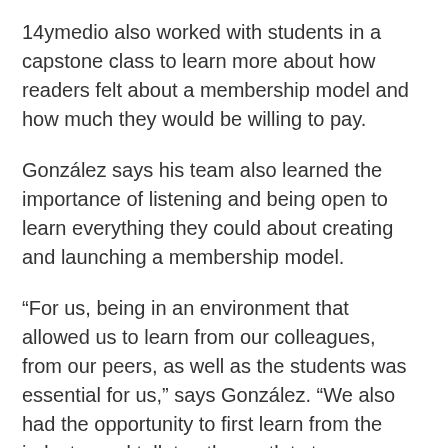14ymedio also worked with students in a capstone class to learn more about how readers felt about a membership model and how much they would be willing to pay.
González says his team also learned the importance of listening and being open to learn everything they could about creating and launching a membership model.
“For us, being in an environment that allowed us to learn from our colleagues, from our peers, as well as the students was essential for us,” says González. “We also had the opportunity to first learn from the industry and talk to other outlets to understand how they looked at membership models.”
Related Stories